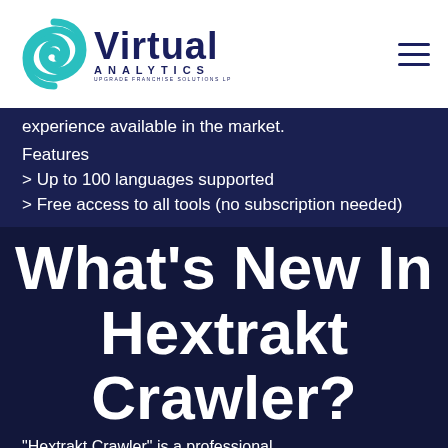Virtual Analytics
experience available in the market.
Features
> Up to 100 languages supported
> Free access to all tools (no subscription needed)
What's New In Hextrakt Crawler?
"Hextrakt Crawler" is a professional